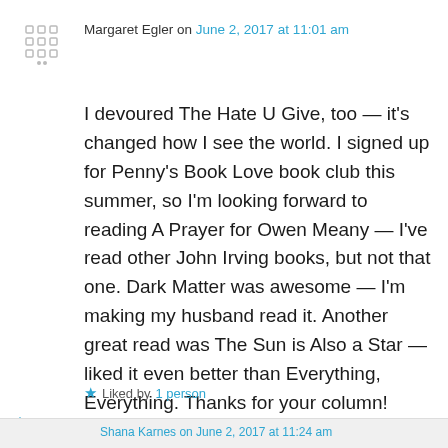Margaret Egler on June 2, 2017 at 11:01 am
I devoured The Hate U Give, too — it's changed how I see the world. I signed up for Penny's Book Love book club this summer, so I'm looking forward to reading A Prayer for Owen Meany — I've read other John Irving books, but not that one. Dark Matter was awesome — I'm making my husband read it. Another great read was The Sun is Also a Star — liked it even better than Everything, Everything. Thanks for your column!
Liked by 1 person
↳ Reply
Shana Karnes on June 2, 2017 at 11:24 am